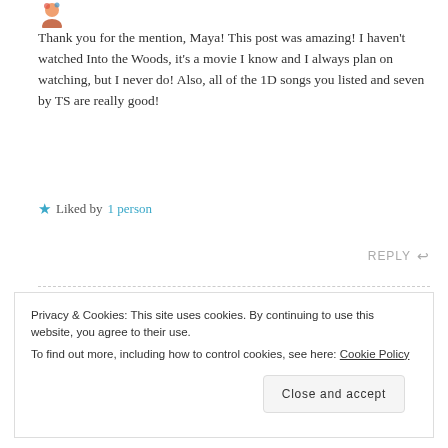[Figure (illustration): Small colorful avatar/emoji icon at top left]
Thank you for the mention, Maya! This post was amazing! I haven't watched Into the Woods, it's a movie I know and I always plan on watching, but I never do! Also, all of the 1D songs you listed and seven by TS are really good!
★ Liked by 1 person
REPLY ↩
Privacy & Cookies: This site uses cookies. By continuing to use this website, you agree to their use.
To find out more, including how to control cookies, see here: Cookie Policy
Close and accept